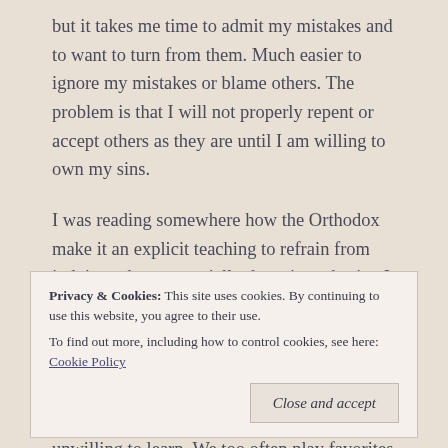but it takes me time to admit my mistakes and to want to turn from them. Much easier to ignore my mistakes or blame others. The problem is that I will not properly repent or accept others as they are until I am willing to own my sins.
I was reading somewhere how the Orthodox make it an explicit teaching to refrain from judging others, especially those in authority. I think that would be healthier for Protestants and Catholics. Especially if your tradition has accountable leadership (Anglican, Lutheran, Methodist, or Catholic) best to be differential and obedient rather than judgmental and unwilling to learn. We too often play favorites with our leaders
Privacy & Cookies: This site uses cookies. By continuing to use this website, you agree to their use. To find out more, including how to control cookies, see here: Cookie Policy
Close and accept